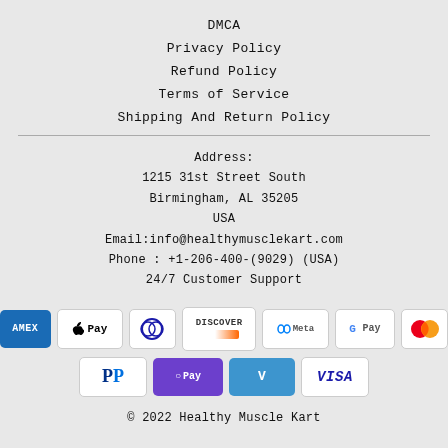DMCA
Privacy Policy
Refund Policy
Terms of Service
Shipping And Return Policy
Address:
1215 31st Street South
Birmingham, AL 35205
USA
Email:info@healthymusclekart.com
Phone : +1-206-400-(9029) (USA)
24/7 Customer Support
[Figure (logo): Payment method icons: American Express, Apple Pay, Diners Club, Discover, Meta Pay, Google Pay, Mastercard, PayPal, OPay, Venmo, Visa]
© 2022 Healthy Muscle Kart